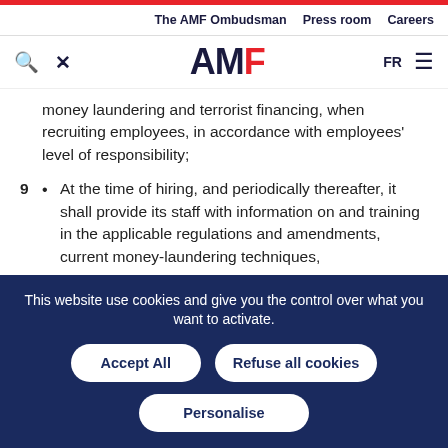The AMF Ombudsman | Press room | Careers
[Figure (logo): AMF logo with search and tools icons, FR language selector, hamburger menu]
money laundering and terrorist financing, when recruiting employees, in accordance with employees' level of responsibility;
9 • At the time of hiring, and periodically thereafter, it shall provide its staff with information on and training in the applicable regulations and amendments, current money-laundering techniques,
This website use cookies and give you the control over what you want to activate. Accept All | Refuse all cookies | Personalise